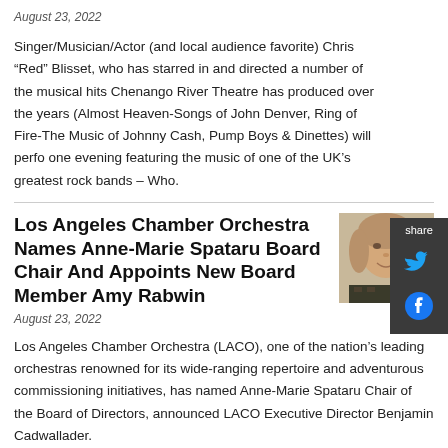August 23, 2022
Singer/Musician/Actor (and local audience favorite) Chris “Red” Blisset, who has starred in and directed a number of the musical hits Chenango River Theatre has produced over the years (Almost Heaven-Songs of John Denver, Ring of Fire-The Music of Johnny Cash, Pump Boys & Dinettes) will perfo one evening featuring the music of one of the UK’s greatest rock bands – Who.
Los Angeles Chamber Orchestra Names Anne-Marie Spataru Board Chair And Appoints New Board Member Amy Rabwin
[Figure (photo): Headshot of a woman with short blonde/brown hair, smiling, wearing a dark patterned top. She appears to be at an event.]
August 23, 2022
Los Angeles Chamber Orchestra (LACO), one of the nation’s leading orchestras renowned for its wide-ranging repertoire and adventurous commissioning initiatives, has named Anne-Marie Spataru Chair of the Board of Directors, announced LACO Executive Director Benjamin Cadwallader.